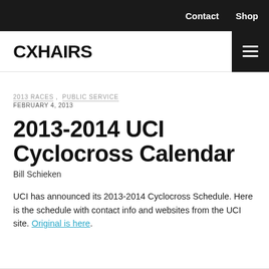Contact  Shop
CXHAIRS
2013 RACES ,  PUBLIC SERVICE
FEBRUARY 4, 2013
2013-2014 UCI Cyclocross Calendar
Bill Schieken
UCI has announced its 2013-2014 Cyclocross Schedule. Here is the schedule with contact info and websites from the UCI site. Original is here.